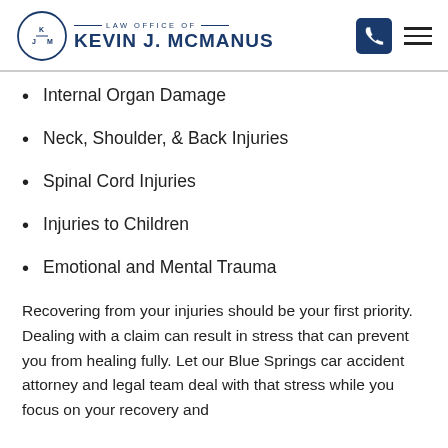LAW OFFICE OF KEVIN J. MCMANUS
Internal Organ Damage
Neck, Shoulder, & Back Injuries
Spinal Cord Injuries
Injuries to Children
Emotional and Mental Trauma
Recovering from your injuries should be your first priority. Dealing with a claim can result in stress that can prevent you from healing fully. Let our Blue Springs car accident attorney and legal team deal with that stress while you focus on your recovery and